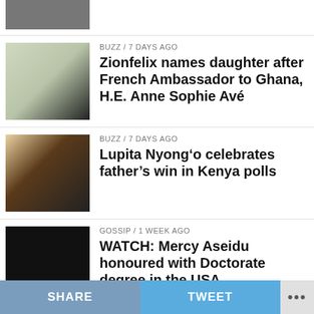[Figure (photo): Partial news thumbnail at top, partially visible people photo]
[Figure (photo): Group of people dressed in white at an event]
BUZZ / 7 days ago
Zionfelix names daughter after French Ambassador to Ghana, H.E. Anne Sophie Avé
[Figure (photo): Two people, a woman and a man in a suit, smiling at an event]
BUZZ / 7 days ago
Lupita Nyong’o celebrates father’s win in Kenya polls
[Figure (photo): Dark/black thumbnail image]
GOSSIP / 1 week ago
WATCH: Mercy Aseidu honoured with Doctorate degree in the USA
[Figure (photo): Dark/black thumbnail image]
BUZZ / 3 days ago
Bridget Otoo reveals she was attending to her cement customers at her engagement ceremony
SHARE   TWEET   ...